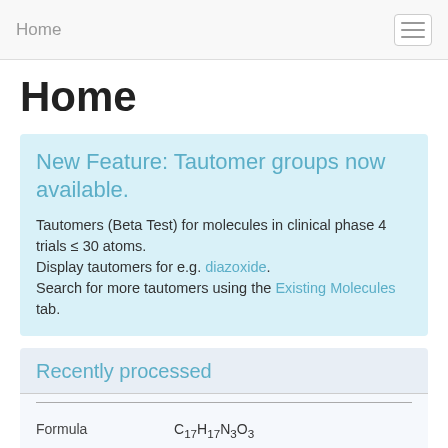Home
Home
New Feature: Tautomer groups now available.
Tautomers (Beta Test) for molecules in clinical phase 4 trials ≤ 30 atoms.
Display tautomers for e.g. diazoxide. Search for more tautomers using the Existing Molecules tab.
Recently processed
| Formula |  |
| --- | --- |
| Formula | C17H17N3O3 |